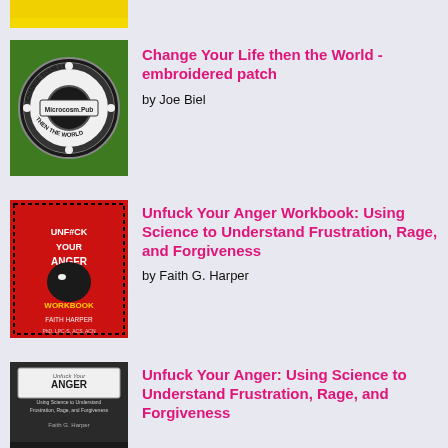[Figure (photo): Partial view of a yellow product image at top of page (cropped)]
[Figure (photo): Circular embroidered patch on green background reading 'Change Your Life Then The World' with Microcosm.Pub logo]
Change Your Life then the World - embroidered patch
by Joe Biel
[Figure (photo): Book cover: Unfuck Your Anger Workbook by Faith Harper, red cover with illustrated face]
Unfuck Your Anger Workbook: Using Science to Understand Frustration, Rage, and Forgiveness
by Faith G. Harper
[Figure (photo): Book cover: Unfuck Your Anger by Faith G. Harper, dark cover with large ANGER text]
Unfuck Your Anger: Using Science to Understand Frustration, Rage, and Forgiveness